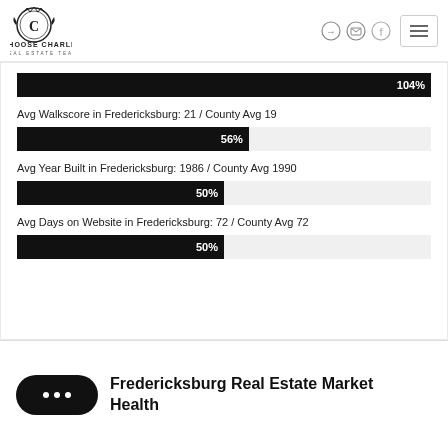[Figure (logo): Choose Charlie Real Estate Team logo — circular crest with letter C]
[Figure (infographic): Horizontal bar showing 104% fill, full width black bar]
Avg Walkscore in Fredericksburg: 21 / County Avg 19
[Figure (bar-chart): Avg Walkscore in Fredericksburg: 21 / County Avg 19]
Avg Year Built in Fredericksburg: 1986 / County Avg 1990
[Figure (bar-chart): Avg Year Built in Fredericksburg: 1986 / County Avg 1990]
Avg Days on Website in Fredericksburg: 72 / County Avg 72
[Figure (bar-chart): Avg Days on Website in Fredericksburg: 72 / County Avg 72]
Fredericksburg Real Estate Market Health